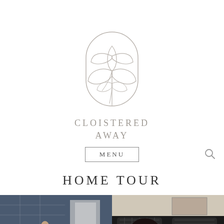[Figure (logo): Cloistered Away logo: an arched frame outline containing a botanical line drawing of magnolia leaves and flower, in light gray]
CLOISTERED AWAY
MENU
HOME TOUR
[Figure (photo): Left photo: dark blue-toned interior room with a person sitting on the floor, white panel wall behind, hardwood floors]
[Figure (photo): Right photo: close-up of a gas stove top with dark grates, a pan on burner, and framed art visible in background]